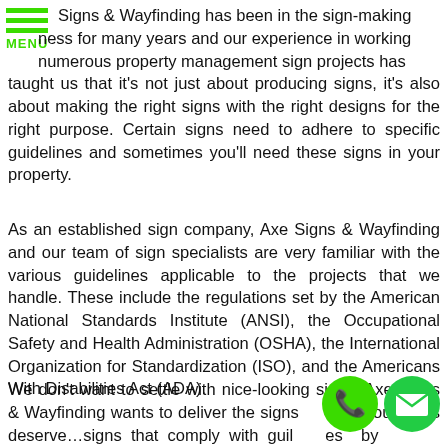[Figure (logo): Green hamburger menu icon with three horizontal green bars and the word MENU in green below]
Signs & Wayfinding has been in the sign-making business for many years and our experience in working numerous property management sign projects has taught us that it's not just about producing signs, it's also about making the right signs with the right designs for the right purpose. Certain signs need to adhere to specific guidelines and sometimes you'll need these signs in your property.
As an established sign company, Axe Signs & Wayfinding and our team of sign specialists are very familiar with the various guidelines applicable to the projects that we handle. These include the regulations set by the American National Standards Institute (ANSI), the Occupational Safety and Health Administration (OSHA), the International Organization for Standardization (ISO), and the Americans With Disabilities Act (ADA).
We don't want to settle with nice-looking signs, Axe Signs & Wayfinding wants to deliver the signs your clients deserve…signs that comply with guidelines set by